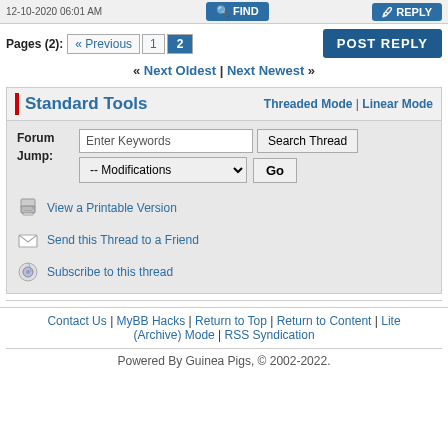Pages (2): « Previous  1  2  POST REPLY
« Next Oldest | Next Newest »
Standard Tools
Threaded Mode | Linear Mode
Forum Jump: Enter Keywords  Search Thread  -- Modifications  Go
View a Printable Version
Send this Thread to a Friend
Subscribe to this thread
Contact Us | MyBB Hacks | Return to Top | Return to Content | Lite (Archive) Mode | RSS Syndication
Powered By Guinea Pigs, © 2002-2022.